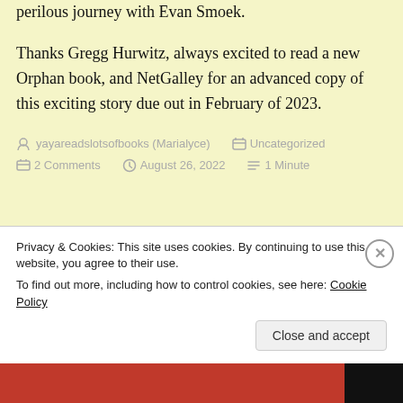perilous journey with Evan Smoek.
Thanks Gregg Hurwitz, always excited to read a new Orphan book, and NetGalley for an advanced copy of this exciting story due out in February of 2023.
yayareadslotsofbooks (Marialyce)   Uncategorized   2 Comments   August 26, 2022   1 Minute
Privacy & Cookies: This site uses cookies. By continuing to use this website, you agree to their use. To find out more, including how to control cookies, see here: Cookie Policy
Close and accept